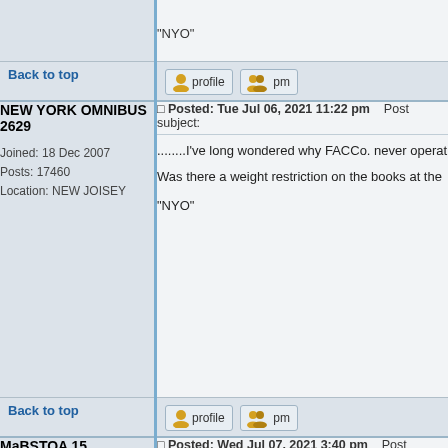"NYO"
Back to top
NEW YORK OMNIBUS 2629
Joined: 18 Dec 2007
Posts: 17460
Location: NEW JOISEY
Posted: Tue Jul 06, 2021 11:22 pm    Post subject:
........I've long wondered why FACCo. never operat...
Was there a weight restriction on the books at the...
"NYO"
Back to top
MaBSTOA 15
Age: 68
Joined: 27 Feb 2013
Posts: 946
Posted: Wed Jul 07, 2021 3:40 pm    Post subject:
Surface Transportation acquired 26 six wheel dou... they were rebuilt as single deckers.
Back to top
MaBSTOA 15
Age: 68
Posted: Wed Jul 07, 2021 3:44 pm    Post subject:
MaBSTOA acquired eight Leyland "Atlantean" dou...